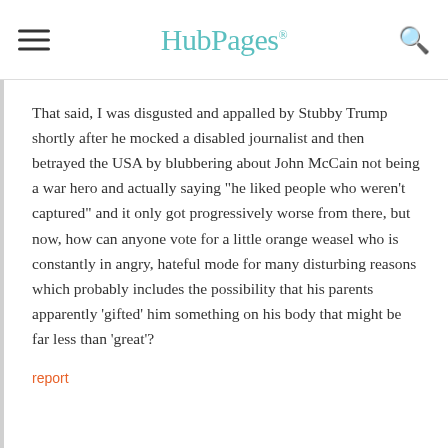HubPages
That said, I was disgusted and appalled by Stubby Trump shortly after he mocked a disabled journalist and then betrayed the USA by blubbering about John McCain not being a war hero and actually saying "he liked people who weren't captured" and it only got progressively worse from there, but now, how can anyone vote for a little orange weasel who is constantly in angry, hateful mode for many disturbing reasons which probably includes the possibility that his parents apparently 'gifted' him something on his body that might be far less than 'great'?
report